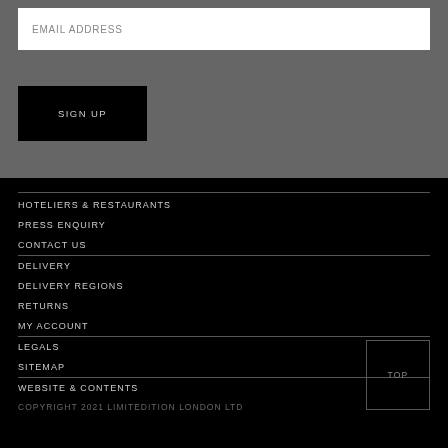EMAIL ADDRESS
SIGN UP
HOTELIERS & RESTAURANTS
PRESS ENQUIRY
CONTACT US
DELIVERY
DELIVERY REGIONS
RETURNS
MY ACCOUNT
LEGALS
SITEMAP
WEBSITE & CONTENTS
COPYRIGHT 2021 LIMITEDITION LONDON LTD
TOP